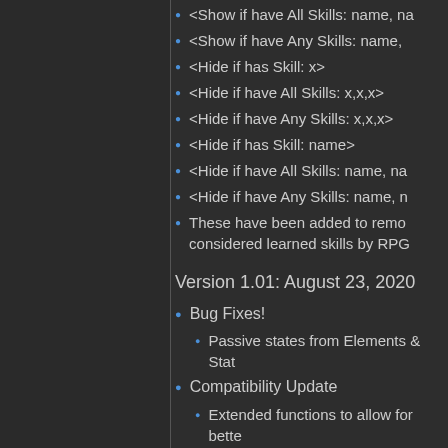<Show if have All Skills: name, na
<Show if have Any Skills: name,
<Hide if has Skill: x>
<Hide if have All Skills: x,x,x>
<Hide if have Any Skills: x,x,x>
<Hide if has Skill: name>
<Hide if have All Skills: name, na
<Hide if have Any Skills: name, n
These have been added to remo considered learned skills by RPG
Version 1.01: August 23, 2020
Bug Fixes!
Passive states from Elements & Stat
Compatibility Update
Extended functions to allow for bette
Updated documentation
Explains that passive states are not